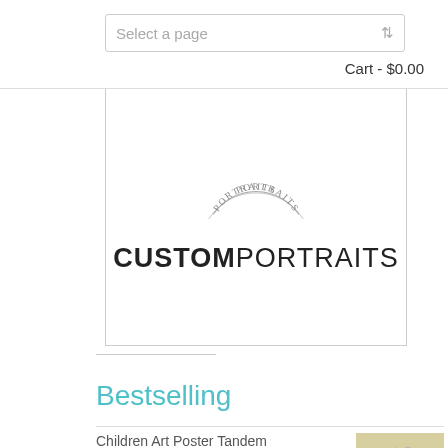Select a page | Cart - $0.00
[Figure (logo): Custom Portraits logo with circular stamp text 'PORTRAITS' and bold text CUSTOMPORTRAITS below]
Bestselling
Children Art Poster Tandem  $3.30-$156.00 · $1.65–$78.00
Watercolor Painting London  $2.50-$120.00 · $1.25–$60.00